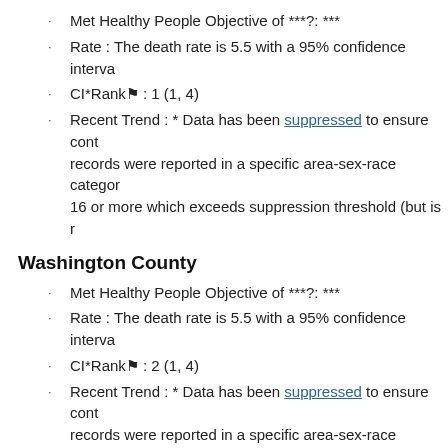Met Healthy People Objective of ***?: ***
Rate : The death rate is 5.5 with a 95% confidence interva
CI*Rank⋕ : 1 (1, 4)
Recent Trend : * Data has been suppressed to ensure cont records were reported in a specific area-sex-race category 16 or more which exceeds suppression threshold (but is r
Washington County
Met Healthy People Objective of ***?: ***
Rate : The death rate is 5.5 with a 95% confidence interva
CI*Rank⋕ : 2 (1, 4)
Recent Trend : * Data has been suppressed to ensure cont records were reported in a specific area-sex-race category 16 or more which exceeds suppression threshold (but is r
Providence County
Met Healthy People Objective of ***?: ***
Rate : The death rate is 5.4 with a 95% confidence interva